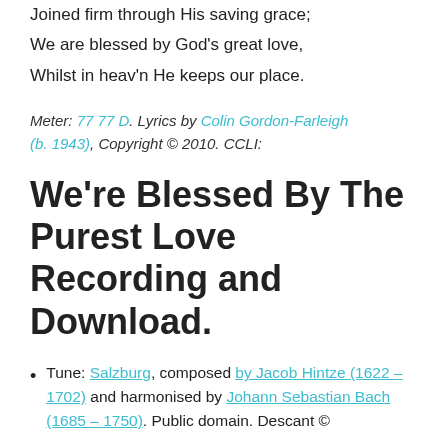Joint heirs with our Lord in heav'n,
Joined firm through His saving grace;
We are blessed by God's great love,
Whilst in heav'n He keeps our place.
Meter: 77 77 D. Lyrics by Colin Gordon-Farleigh (b. 1943), Copyright © 2010. CCLI:
We're Blessed By The Purest Love Recording and Download.
Tune: Salzburg, composed by Jacob Hintze (1622 – 1702) and harmonised by Johann Sebastian Bach (1685 – 1750). Public domain. Descant ©